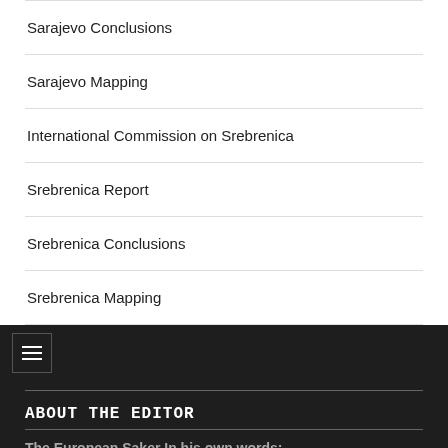Sarajevo Conclusions
Sarajevo Mapping
International Commission on Srebrenica
Srebrenica Report
Srebrenica Conclusions
Srebrenica Mapping
ABOUT THE EDITOR
The European Saker In his own words:
[Figure (photo): Photo of a bird of prey (falcon/saker), close-up showing head and upper body against blurred background]